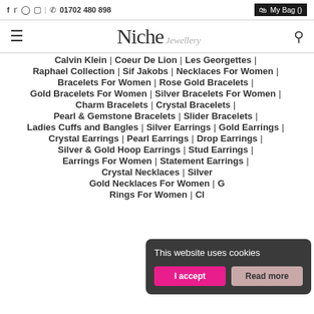f  Twitter  Pinterest  Instagram  |  Phone  01702 480 898   My Bag ()
[Figure (logo): Niche Jewellery logo with hamburger menu and search icon]
Calvin Klein | Coeur De Lion | Les Georgettes |
Raphael Collection | Sif Jakobs | Necklaces For Women |
Bracelets For Women | Rose Gold Bracelets |
Gold Bracelets For Women | Silver Bracelets For Women |
Charm Bracelets | Crystal Bracelets |
Pearl & Gemstone Bracelets | Slider Bracelets |
Ladies Cuffs and Bangles | Silver Earrings | Gold Earrings |
Crystal Earrings | Pearl Earrings | Drop Earrings |
Silver & Gold Hoop Earrings | Stud Earrings |
Earrings For Women | Statement Earrings |
Crystal Necklaces | Silver ...
Gold Necklaces For Women | G...
Rings For Women | Cl...
This website uses cookies
I accept   Read more